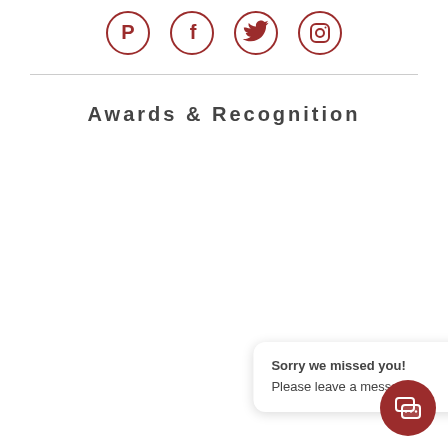[Figure (illustration): Four social media icons in a row: Pinterest, Facebook, Twitter, Instagram — all in dark red outlined circle style]
Awards & Recognition
[Figure (screenshot): Chat widget popup with text 'Sorry we missed you! Please leave a message!' and a dark red chat button with speech bubble icon]